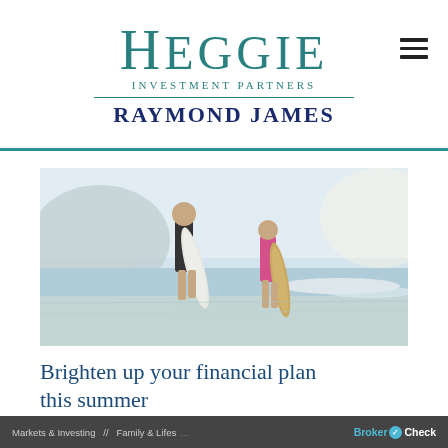[Figure (logo): Heggie Investment Partners / Raymond James logo with teal text and dark blue Raymond James wordmark]
[Figure (photo): Two women carrying surfboards walking along a beach shoreline with a hill in the background]
Brighten up your financial plan this summer
Markets & Investing  //  Family & Lifes...  BrokerCheck